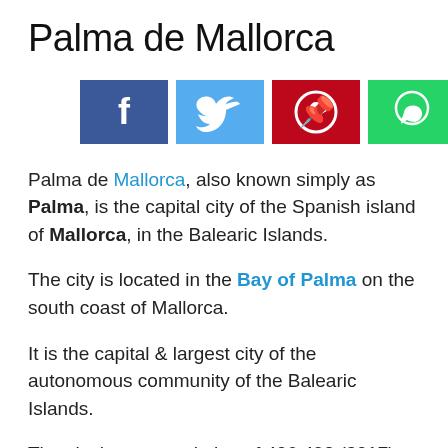Palma de Mallorca
[Figure (infographic): Social media share buttons: Facebook (dark blue), Twitter (light blue), Pinterest (red), WhatsApp (green)]
Palma de Mallorca, also known simply as Palma, is the capital city of the Spanish island of Mallorca, in the Balearic Islands.
The city is located in the Bay of Palma on the south coast of Mallorca.
It is the capital & largest city of the autonomous community of the Balearic Islands.
The city has a population of 406,492 (2017),